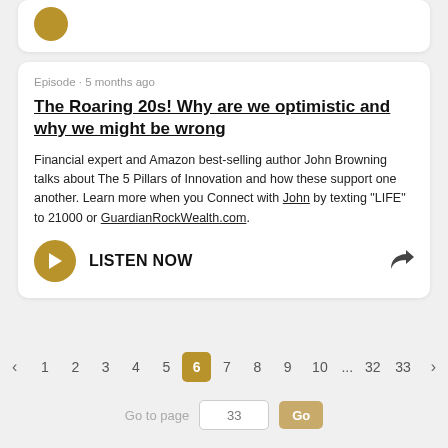[Figure (other): Golden/amber circular avatar icon at top of card]
Episode · 5 months ago
The Roaring 20s! Why are we optimistic and why we might be wrong
Financial expert and Amazon best-selling author John Browning talks about The 5 Pillars of Innovation and how these support one another. Learn more when you Connect with John by texting "LIFE" to 21000 or GuardianRockWealth.com.
LISTEN NOW
‹ 1 2 3 4 5 6 7 8 9 10 ... 32 33 ›
Go to page  33  Go